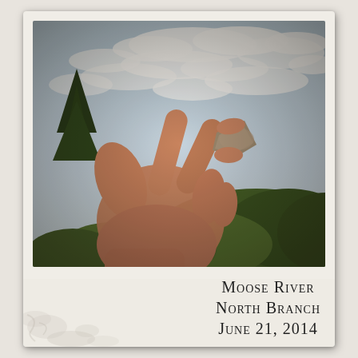[Figure (photo): A polaroid-style photo of a hand holding a small heart-shaped or triangular river rock up against a partly cloudy sky, with green trees/shrubs visible in the background. The photo has a vintage instagram-style filter.]
Moose River North Branch June 21, 2014